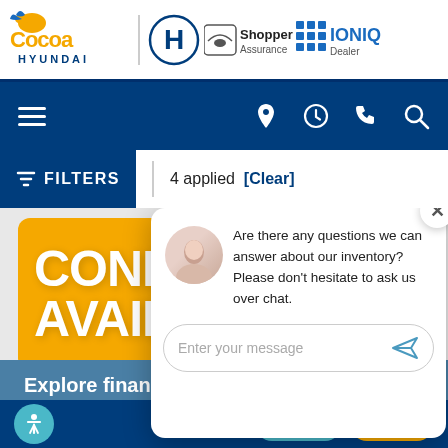[Figure (screenshot): Cocoa Hyundai dealership website header with logo, Hyundai badge, Shopper Assurance badge, and IONIQ Dealer badge]
[Figure (screenshot): Dark blue navigation bar with hamburger menu icon on left and location, clock, phone, and search icons on right]
FILTERS  |  4 applied  [Clear]
[Figure (screenshot): Yellow 'CONFIRM AVAIL...' banner partially visible behind chat popup]
[Figure (screenshot): Red-brown 'WE WILL BUY' banner partially visible behind chat popup]
[Figure (screenshot): Chat popup with avatar, message 'Are there any questions we can answer about our inventory? Please don't hesitate to ask us over chat.' and message input field]
[Figure (screenshot): Blue 'Explore financing' banner]
[Figure (screenshot): Bottom navigation bar with accessibility icon, Chat button (teal), and Text button (orange)]
Nearly New